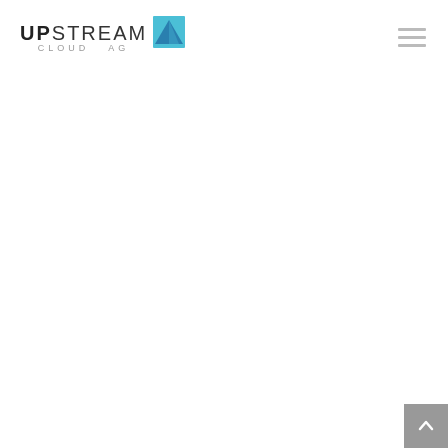[Figure (logo): Upstream Cloud AG logo with text and blue triangle/diamond icon]
[Figure (other): Hamburger menu icon (three horizontal lines) in light gray]
[Figure (other): Gray scroll-to-top button with upward chevron arrow in bottom-right corner]